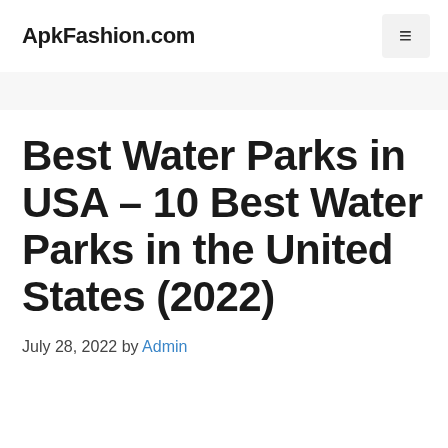ApkFashion.com
Best Water Parks in USA – 10 Best Water Parks in the United States (2022)
July 28, 2022 by Admin